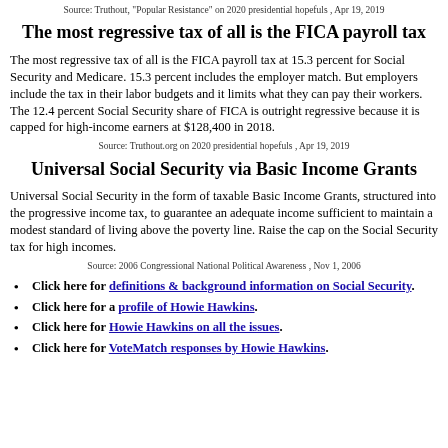Source: Truthout, "Popular Resistance" on 2020 presidential hopefuls , Apr 19, 2019
The most regressive tax of all is the FICA payroll tax
The most regressive tax of all is the FICA payroll tax at 15.3 percent for Social Security and Medicare. 15.3 percent includes the employer match. But employers include the tax in their labor budgets and it limits what they can pay their workers. The 12.4 percent Social Security share of FICA is outright regressive because it is capped for high-income earners at $128,400 in 2018.
Source: Truthout.org on 2020 presidential hopefuls , Apr 19, 2019
Universal Social Security via Basic Income Grants
Universal Social Security in the form of taxable Basic Income Grants, structured into the progressive income tax, to guarantee an adequate income sufficient to maintain a modest standard of living above the poverty line. Raise the cap on the Social Security tax for high incomes.
Source: 2006 Congressional National Political Awareness , Nov 1, 2006
Click here for definitions & background information on Social Security.
Click here for a profile of Howie Hawkins.
Click here for Howie Hawkins on all the issues.
Click here for VoteMatch responses by Howie Hawkins.